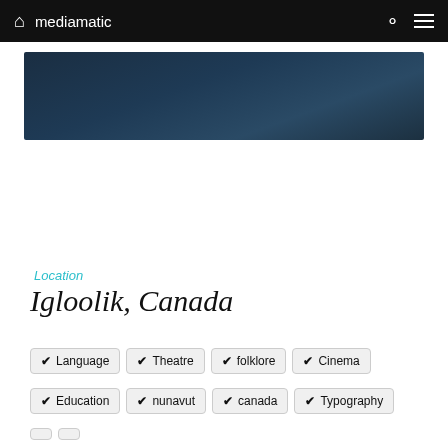mediamatic
[Figure (photo): Dark blue/navy sky or landscape hero image banner]
Location
Igloolik, Canada
✓ Language
✓ Theatre
✓ folklore
✓ Cinema
✓ Education
✓ nunavut
✓ canada
✓ Typography